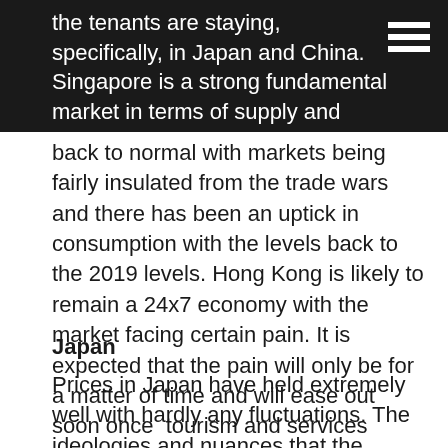the tenants are staying, specifically, in Japan and China. Singapore is a strong fundamental market in terms of supply and demand. Shanghai and Beijing are almost back to normal with markets being fairly insulated from the trade wars and there has been an uptick in consumption with the levels back to the 2019 levels. Hong Kong is likely to remain a 24x7 economy with the market facing certain pain. It is expected that the pain will only be for a matter of time and will ease out soon once  tourism and services come back.
Japan
Prices in Japan have held extremely well with hardly any fluctuations. The ideologies and nuances that the Japanese home buyers have when they think about living are different from the other markets. Studio units are performing better than the double-room units and